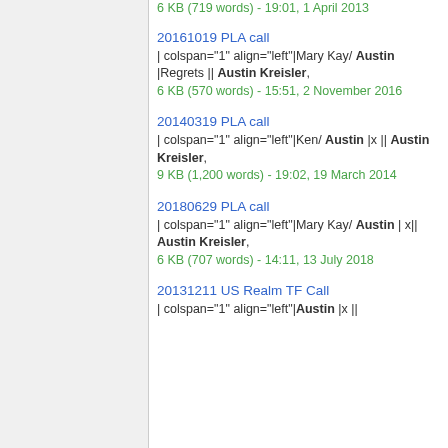6 KB (719 words) - 19:01, 1 April 2013
20161019 PLA call
| colspan="1" align="left"|Mary Kay/ Austin |Regrets || Austin Kreisler,
6 KB (570 words) - 15:51, 2 November 2016
20140319 PLA call
| colspan="1" align="left"|Ken/ Austin |x || Austin Kreisler,
9 KB (1,200 words) - 19:02, 19 March 2014
20180629 PLA call
| colspan="1" align="left"|Mary Kay/ Austin | x|| Austin Kreisler,
6 KB (707 words) - 14:11, 13 July 2018
20131211 US Realm TF Call
| colspan="1" align="left"|Austin |x ||